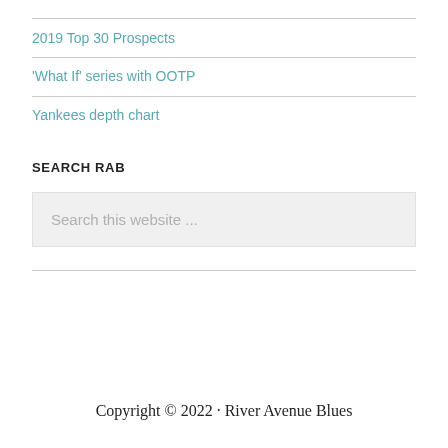2019 Top 30 Prospects
'What If' series with OOTP
Yankees depth chart
SEARCH RAB
Search this website ...
Copyright © 2022 · River Avenue Blues